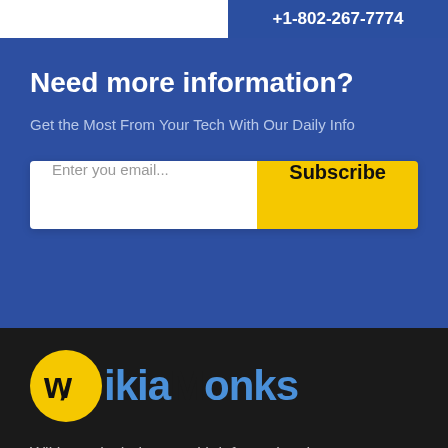+1-802-267-7774
Need more information?
Get the Most From Your Tech With Our Daily Info
Enter you email... Subscribe
[Figure (logo): Wikiamonks logo: yellow circle with stylized w and slash, followed by 'ikia' in blue, 'M' in black, 'onks' in blue]
Wikiamonks help you with information that will make your life easier
+1-888-625-3905